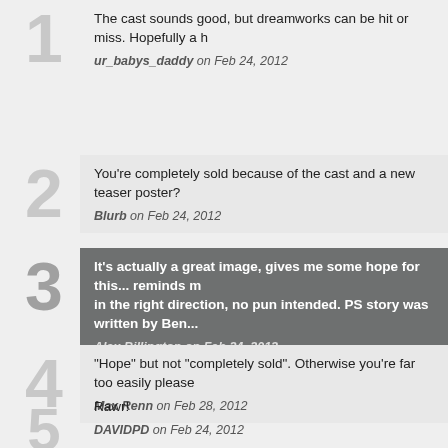1. The cast sounds good, but dreamworks can be hit or miss. Hopefully a h... — ur_babys_daddy on Feb 24, 2012
2. You're completely sold because of the cast and a new teaser poster? — Blurb on Feb 24, 2012
3. It's actually a great image, gives me some hope for this... reminds m... in the right direction, no pun intended. PS story was written by Ben... — Alex Billington on Feb 24, 2012
4. "Hope" but not "completely sold". Otherwise you're far too easily please... — Max Renn on Feb 28, 2012
5. Rawr! — DAVIDPD on Feb 24, 2012